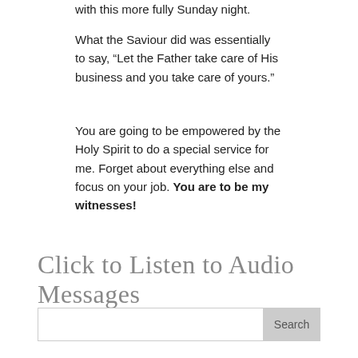with this more fully Sunday night.
What the Saviour did was essentially to say, “Let the Father take care of His business and you take care of yours.”
You are going to be empowered by the Holy Spirit to do a special service for me. Forget about everything else and focus on your job. You are to be my witnesses!
Click to Listen to Audio Messages
Search